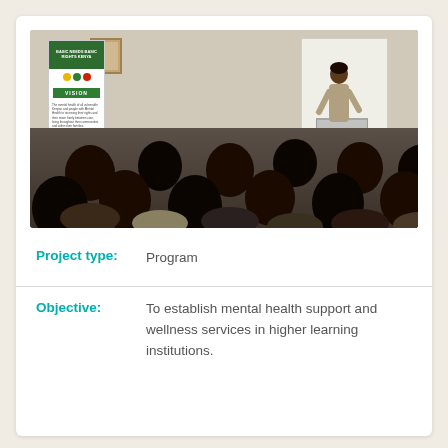[Figure (photo): A speaker presenting at a podium to an audience seated in a conference room. A 'Basic Needs Basic Rights Kenya' banner is visible on the left. A whiteboard/projector screen is behind the speaker on the right.]
Project type:    Program
Objective:    To establish mental health support and wellness services in higher learning institutions.